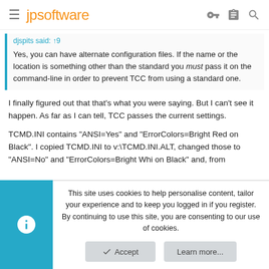jpsoftware
djspits said: ↑9
Yes, you can have alternate configuration files. If the name or the location is something other than the standard you must pass it on the command-line in order to prevent TCC from using a standard one.
I finally figured out that that's what you were saying. But I can't see it happen. As far as I can tell, TCC passes the current settings.
TCMD.INI contains "ANSI=Yes" and "ErrorColors=Bright Red on Black". I copied TCMD.INI to v:\TCMD.INI.ALT, changed those to "ANSI=No" and "ErrorColors=Bright Whi on Black" and, from
This site uses cookies to help personalise content, tailor your experience and to keep you logged in if you register.
By continuing to use this site, you are consenting to our use of cookies.